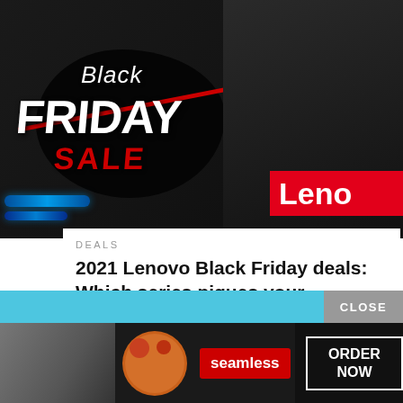[Figure (photo): Black Friday Sale promotional image with Lenovo laptop in background. Dark background with 'Black Friday Sale' text on left in white and red, blue accent lights, and a red Lenovo banner on the right.]
DEALS
2021 Lenovo Black Friday deals: Which series piques your interest?
BY JAMES DOOP  NOV 24, 2021
[Figure (photo): Seamless food delivery advertisement banner with pizza image, seamless logo badge in red, and ORDER NOW button, on dark background with blue header bar and CLOSE button.]